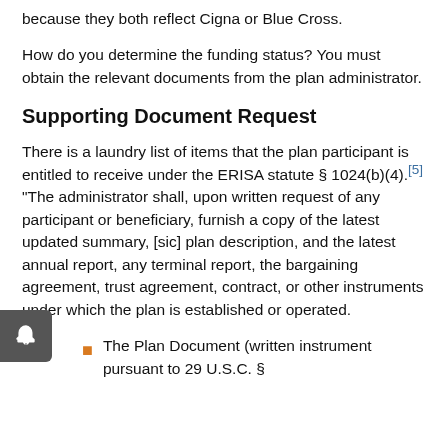because they both reflect Cigna or Blue Cross.
How do you determine the funding status? You must obtain the relevant documents from the plan administrator.
Supporting Document Request
There is a laundry list of items that the plan participant is entitled to receive under the ERISA statute § 1024(b)(4).[5] "The administrator shall, upon written request of any participant or beneficiary, furnish a copy of the latest updated summary, [sic] plan description, and the latest annual report, any terminal report, the bargaining agreement, trust agreement, contract, or other instruments under which the plan is established or operated.
The Plan Document (written instrument pursuant to 29 U.S.C. §